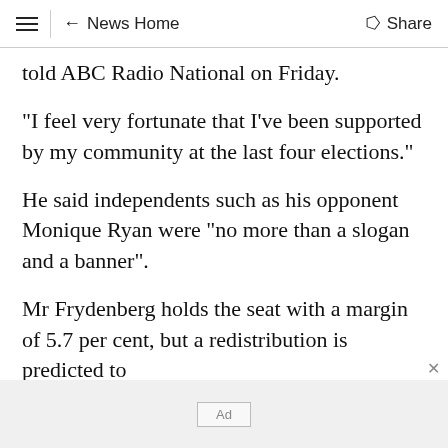≡  ← News Home  Share
told ABC Radio National on Friday.
"I feel very fortunate that I've been supported by my community at the last four elections."
He said independents such as his opponent Monique Ryan were "no more than a slogan and a banner".
Mr Frydenberg holds the seat with a margin of 5.7 per cent, but a redistribution is predicted to
Ad